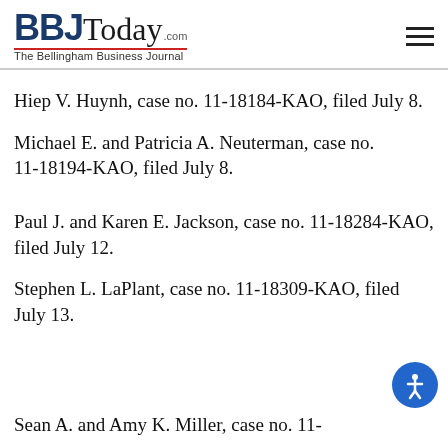BBJToday.com — The Bellingham Business Journal
Hiep V. Huynh, case no. 11-18184-KAO, filed July 8.
Michael E. and Patricia A. Neuterman, case no. 11-18194-KAO, filed July 8.
Paul J. and Karen E. Jackson, case no. 11-18284-KAO, filed July 12.
Stephen L. LaPlant, case no. 11-18309-KAO, filed July 13.
Sean A. and Amy K. Miller, case no. 11-